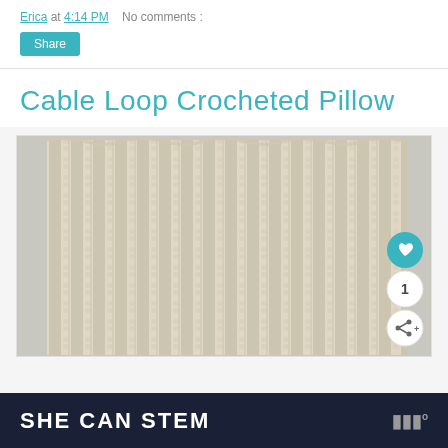Erica at 4:14 PM   No comments :
Share
Cable Loop Crocheted Pillow
[Figure (photo): Close-up photo of a cream/off-white crocheted pillow with vertical cable loop texture pattern, on a light gray background. Social interaction buttons (heart, count '1', share) overlay the bottom-right corner.]
SHE CAN STEM